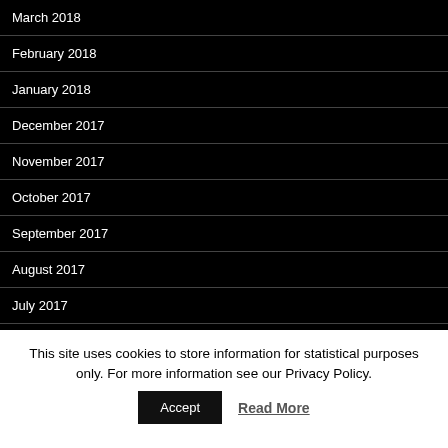March 2018
February 2018
January 2018
December 2017
November 2017
October 2017
September 2017
August 2017
July 2017
This site uses cookies to store information for statistical purposes only. For more information see our Privacy Policy.
Accept | Read More